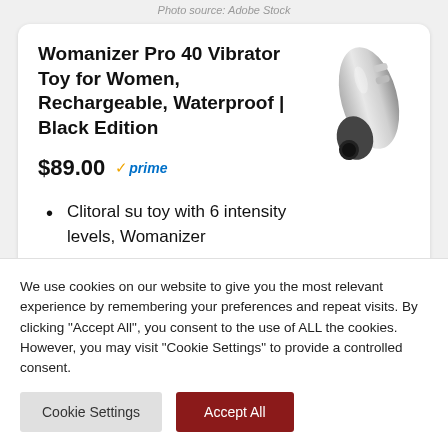Photo source: Adobe Stock
Womanizer Pro 40 Vibrator Toy for Women, Rechargeable, Waterproof | Black Edition
$89.00 ✓prime
Clitoral su toy with 6 intensity levels, Womanizer
[Figure (photo): Womanizer Pro 40 device - silver and black sleek vibrator toy]
We use cookies on our website to give you the most relevant experience by remembering your preferences and repeat visits. By clicking "Accept All", you consent to the use of ALL the cookies. However, you may visit "Cookie Settings" to provide a controlled consent.
Cookie Settings | Accept All